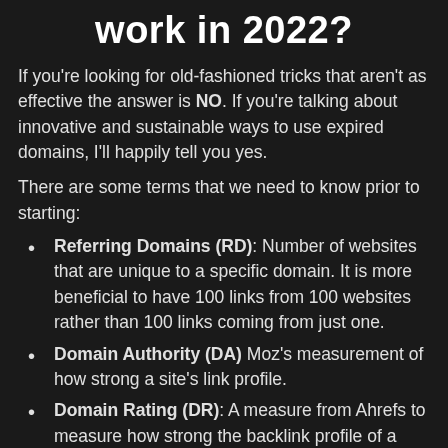work in 2022?
If you're looking for old-fashioned tricks that aren't as effective the answer is NO. If you're talking about innovative and sustainable ways to use expired domains, I'll happily tell you yes.
There are some terms that we need to know prior to starting:
Referring Domains (RD): Number of websites that are unique to a specific domain. It is more beneficial to have 100 links from 100 websites rather than 100 links coming from just one.
Domain Authority (DA) Moz's measurement of how strong a site's link profile.
Domain Rating (DR): A measure from Ahrefs to measure how strong the backlink profile of a